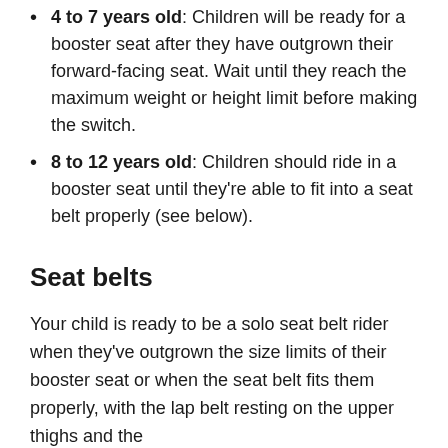4 to 7 years old: Children will be ready for a booster seat after they have outgrown their forward-facing seat. Wait until they reach the maximum weight or height limit before making the switch.
8 to 12 years old: Children should ride in a booster seat until they’re able to fit into a seat belt properly (see below).
Seat belts
Your child is ready to be a solo seat belt rider when they’ve outgrown the size limits of their booster seat or when the seat belt fits them properly, with the lap belt resting on the upper thighs and the